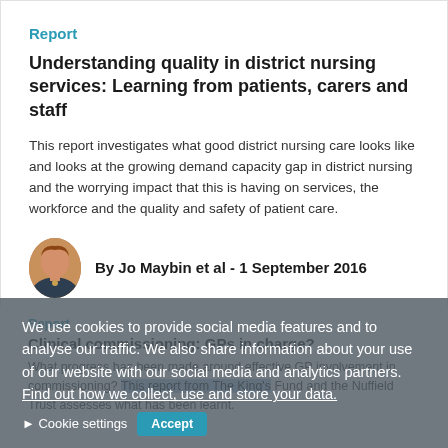Report
Understanding quality in district nursing services: Learning from patients, carers and staff
This report investigates what good district nursing care looks like and looks at the growing demand capacity gap in district nursing and the worrying impact that this is having on services, the workforce and the quality and safety of patient care.
By Jo Maybin et al - 1 September 2016
We use cookies to provide social media features and to analyse our traffic. We also share information about your use of our website with our social media and analytics partners. Find out how we collect, use and store your data.
Report
Clinical commissioning: GPs in charge?
What progress has been made around effective GP involvement in commissioning? This report from The King's Fund and the Nuffield Trust assesses what has been learnt.